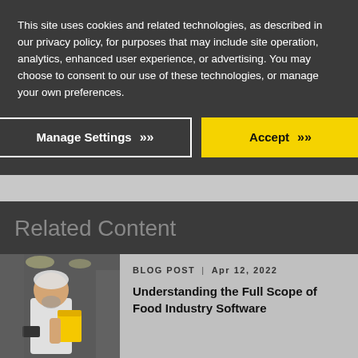This site uses cookies and related technologies, as described in our privacy policy, for purposes that may include site operation, analytics, enhanced user experience, or advertising. You may choose to consent to our use of these technologies, or manage your own preferences.
Manage Settings
Accept
Related Content
BLOG POST | Apr 12, 2022
Understanding the Full Scope of Food Industry Software
[Figure (photo): A person in white coat and hairnet holding a yellow folder in a commercial kitchen]